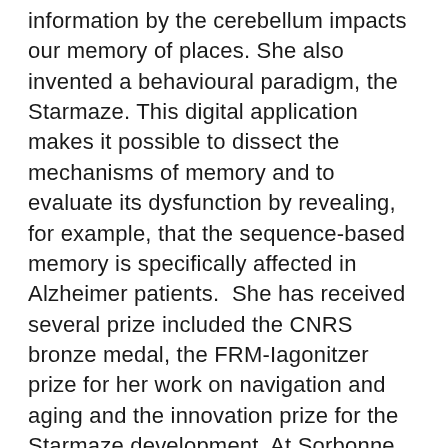information by the cerebellum impacts our memory of places. She also invented a behavioural paradigm, the Starmaze. This digital application makes it possible to dissect the mechanisms of memory and to evaluate its dysfunction by revealing, for example, that the sequence-based memory is specifically affected in Alzheimer patients.  She has received several prize included the CNRS bronze medal, the FRM-Iagonitzer prize for her work on navigation and aging and the innovation prize for the Starmaze development. At Sorbonne University, she's the head a lab studying the neural bases of navigation using a translational approach in mice and humans.
Laure Rondi-Reig also plays a structuring role in the scientific community at national and international level. She and one of her colleagues created the France Cerebellum club, of which she is the president. This club allows an excellent representation of French scientists during the